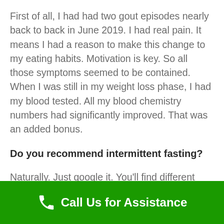First of all, I had had two gout episodes nearly back to back in June 2019. I had real pain. It means I had a reason to make this change to my eating habits. Motivation is key. So all those symptoms seemed to be contained. When I was still in my weight loss phase, I had my blood tested. All my blood chemistry numbers had significantly improved. That was an added bonus.
Do you recommend intermittent fasting?
Naturally. Just google it. You'll find different
Call Us for Assistance